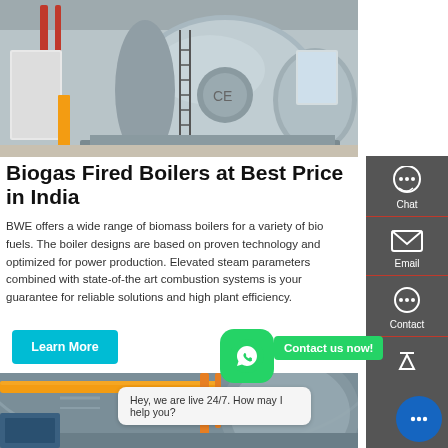[Figure (photo): Industrial biogas/biomass fired boilers in a factory/plant setting, large cylindrical blue-grey boiler vessels on raised platform with red piping]
Biogas Fired Boilers at Best Price in India
BWE offers a wide range of biomass boilers for a variety of bio fuels. The boiler designs are based on proven technology and optimized for power production. Elevated steam parameters combined with state-of-the art combustion systems is your guarantee for reliable solutions and high plant efficiency.
[Figure (photo): Interior of industrial facility showing yellow overhead pipes and orange vertical pipes, large cylindrical tank structure in background]